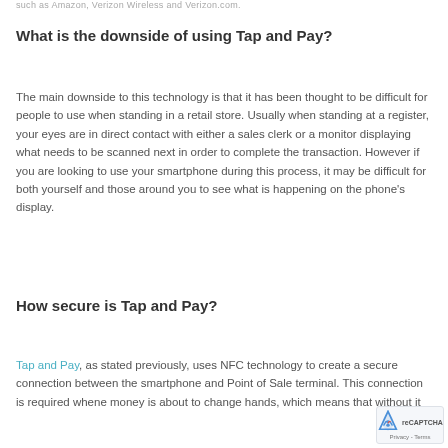such as Amazon, Wireless and Verizon.com.
What is the downside of using Tap and Pay?
The main downside to this technology is that it has been thought to be difficult for people to use when standing in a retail store. Usually when standing at a register, your eyes are in direct contact with either a sales clerk or a monitor displaying what needs to be scanned next in order to complete the transaction. However if you are looking to use your smartphone during this process, it may be difficult for both yourself and those around you to see what is happening on the phone's display.
How secure is Tap and Pay?
Tap and Pay, as stated previously, uses NFC technology to create a secure connection between the smartphone and Point of Sale terminal. This connection is required whene money is about to change hands, which means that without it